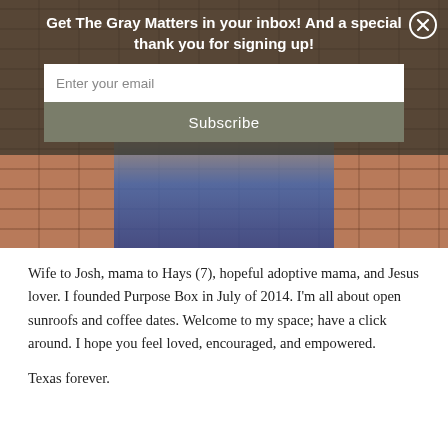[Figure (photo): A person standing against a brick wall, wearing a blue striped outfit, arms folded, with a dark semi-transparent overlay at the top showing a newsletter signup form.]
Get The Gray Matters in your inbox! And a special thank you for signing up!
Wife to Josh, mama to Hays (7), hopeful adoptive mama, and Jesus lover. I founded Purpose Box in July of 2014. I'm all about open sunroofs and coffee dates. Welcome to my space; have a click around. I hope you feel loved, encouraged, and empowered.
Texas forever.